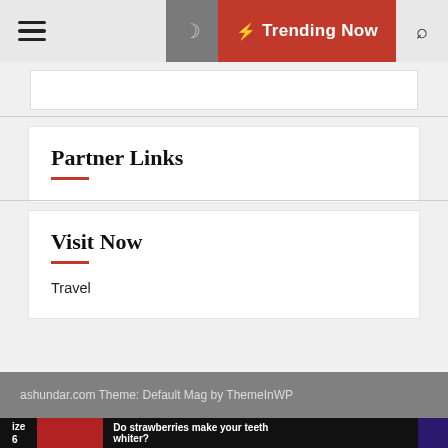Trending Now
Partner Links
Visit Now
Travel
ashundar.com Theme: Default Mag by ThemeInWP
ize
6
Do strawberries make your teeth whiter?